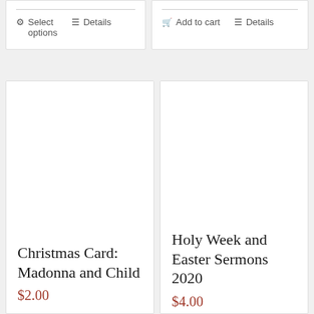Select options
Details
Add to cart
Details
Christmas Card: Madonna and Child
$2.00
Holy Week and Easter Sermons 2020
$4.00